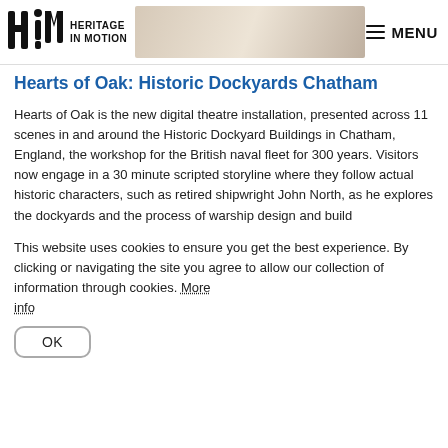Heritage in Motion — MENU
Hearts of Oak: Historic Dockyards Chatham
Hearts of Oak is the new digital theatre installation, presented across 11 scenes in and around the Historic Dockyard Buildings in Chatham, England, the workshop for the British naval fleet for 300 years. Visitors now engage in a 30 minute scripted storyline where they follow actual historic characters, such as retired shipwright John North, as he explores the dockyards and the process of warship design and build
This website uses cookies to ensure you get the best experience. By clicking or navigating the site you agree to allow our collection of information through cookies. More info
OK